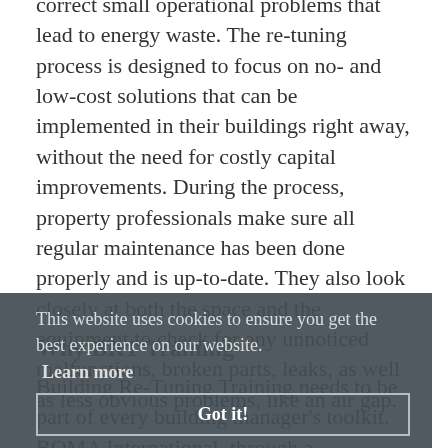correct small operational problems that lead to energy waste. The re-tuning process is designed to focus on no- and low-cost solutions that can be implemented in their buildings right away, without the need for costly capital improvements. During the process, property professionals make sure all regular maintenance has been done properly and is up-to-date. They also look closely at both the space and the equipment to check for any unnoticed malfunctions, broken parts, leaks, as well as less obvious problems, like an air gap.
This website uses cookies to ensure you get the best experience on our website.
Learn more
Got it!
Why BRT Training
Building Re-Tuning Training needs to be part of every building manager's toolkit. BOMA International, through a partnership with the Department of Energy